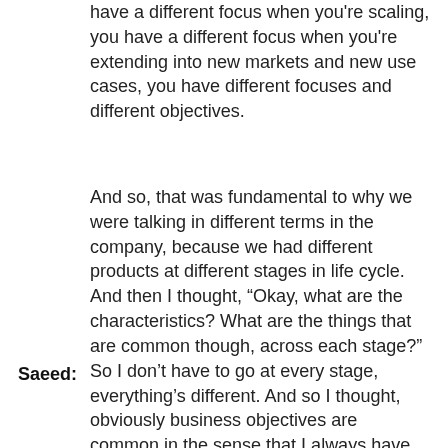have a different focus when you're scaling, you have a different focus when you're extending into new markets and new use cases, you have different focuses and different objectives.
And so, that was fundamental to why we were talking in different terms in the company, because we had different products at different stages in life cycle. And then I thought, “Okay, what are the characteristics? What are the things that are common though, across each stage?” So I don’t have to go at every stage, everything’s different. And so I thought, obviously business objectives are common in the sense that I always have some kind of business objectives, some kind of go-to market will always be
Saeed: